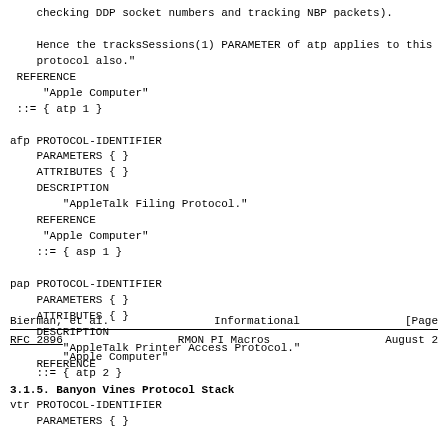checking DDP socket numbers and tracking NBP packets).

    Hence the tracksSessions(1) PARAMETER of atp applies to this
    protocol also."
 REFERENCE
     "Apple Computer"
 ::= { atp 1 }

afp PROTOCOL-IDENTIFIER
    PARAMETERS { }
    ATTRIBUTES { }
    DESCRIPTION
        "AppleTalk Filing Protocol."
    REFERENCE
     "Apple Computer"
    ::= { asp 1 }

pap PROTOCOL-IDENTIFIER
    PARAMETERS { }
    ATTRIBUTES { }
    DESCRIPTION
        "AppleTalk Printer Access Protocol."
    REFERENCE
Bierman, et al.                 Informational                    [Page
RFC 2896                        RMON PI Macros                  August 2
"Apple Computer"
    ::= { atp 2 }
3.1.5.  Banyon Vines Protocol Stack
vtr PROTOCOL-IDENTIFIER
    PARAMETERS { }